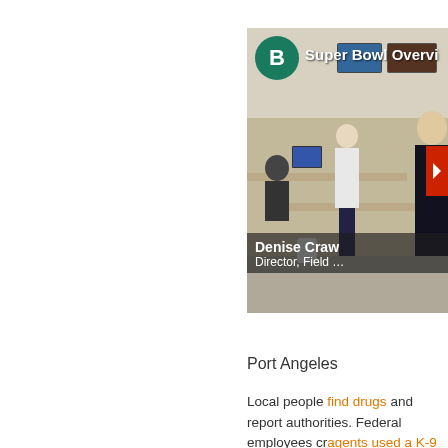[Figure (screenshot): Video thumbnail showing an operations center with uniformed personnel. A green circle with letter B in top-left corner. Text overlay reads 'Super Bowl Overvi...' A lower chyron reads 'Denise Craw... Director, Field ...' A red play button element is partially visible on the right edge.]
Port Angeles
Local people find drugs and repor... authorities. Federal employees cr... agents used a K-9 to “seize” the...